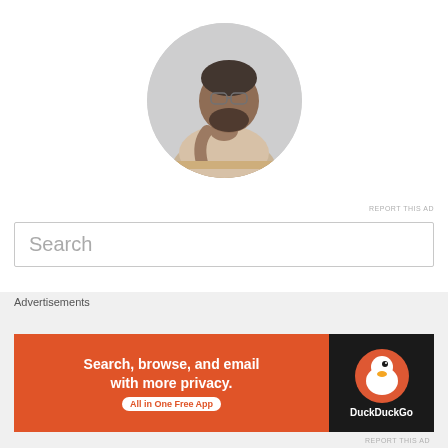[Figure (photo): Circular profile photo of a Black man with glasses and a beard, wearing a beige t-shirt, sitting at a desk with hand on chin in a thoughtful pose]
REPORT THIS AD
Search
Recent Posts
Natural Hair Bride: Asimbuyu
[Figure (infographic): DuckDuckGo advertisement banner: orange background with text 'Search, browse, and email with more privacy.' and 'All in One Free App', with DuckDuckGo duck logo on dark background]
Advertisements
REPORT THIS AD